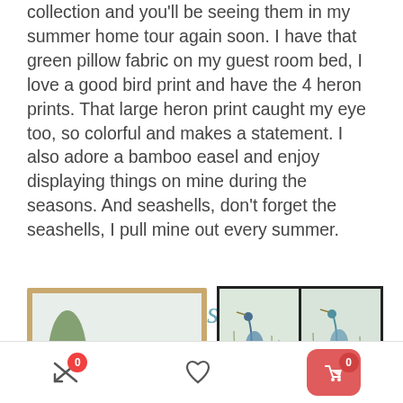collection and you'll be seeing them in my summer home tour again soon. I have that green pillow fabric on my guest room bed, I love a good bird print and have the 4 heron prints. That large heron print caught my eye too, so colorful and makes a statement. I also adore a bamboo easel and enjoy displaying things on mine during the seasons. And seashells, don't forget the seashells, I pull mine out every summer.
[Figure (photo): Large heron watercolor painting in a gold/wood frame — a blue heron standing among reeds and tropical plants]
[Figure (illustration): Text overlay reading 'summer vibes' in teal italic serif font]
[Figure (photo): Grid of 4 heron art prints in black frames showing herons in marsh/reed settings]
[Figure (photo): Bamboo easel]
[Figure (photo): Two partial bottom-row framed heron prints]
Navigation toolbar with compare (0), wishlist (heart), and cart (0) buttons